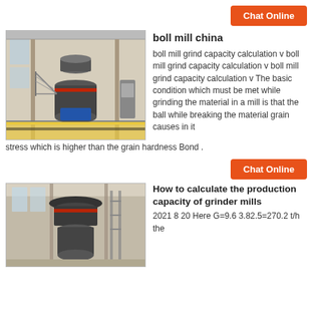Chat Online
[Figure (photo): Industrial ball mill / grinder machine inside a factory building with metal staircases and yellow floor markings]
boll mill china
boll mill grind capacity calculation v boll mill grind capacity calculation v boll mill grind capacity calculation v The basic condition which must be met while grinding the material in a mill is that the ball while breaking the material grain causes in it stress which is higher than the grain hardness Bond .
Chat Online
[Figure (photo): Industrial grinder mill machinery inside a factory, view from below showing the rotating head and structure]
How to calculate the production capacity of grinder mills
2021 8 20 Here G=9.6 3.82.5=270.2 t/h the